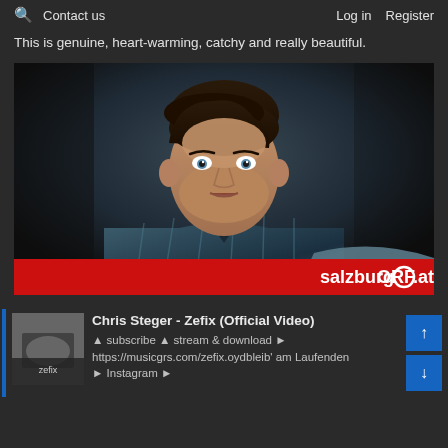🔍 Contact us | Log in Register
This is genuine, heart-warming, catchy and really beautiful.
[Figure (photo): Young man in plaid shirt against dark background, with salzburg ORF.at logo banner at the bottom]
Chris Steger - Zefix (Official Video)
▲ subscribe ▲ stream & download ► https://musicgrs.com/zefix.oydbleib' am Laufenden ► Instagram ►